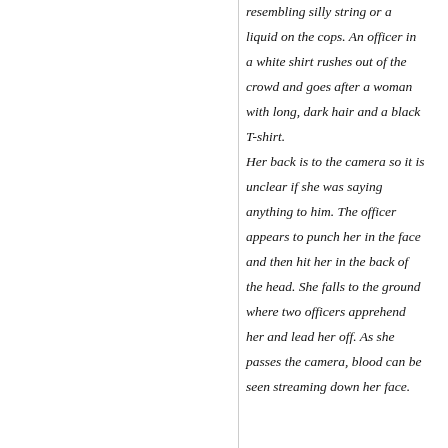resembling silly string or a liquid on the cops. An officer in a white shirt rushes out of the crowd and goes after a woman with long, dark hair and a black T-shirt. Her back is to the camera so it is unclear if she was saying anything to him. The officer appears to punch her in the face and then hit her in the back of the head. She falls to the ground where two officers apprehend her and lead her off. As she passes the camera, blood can be seen streaming down her face.